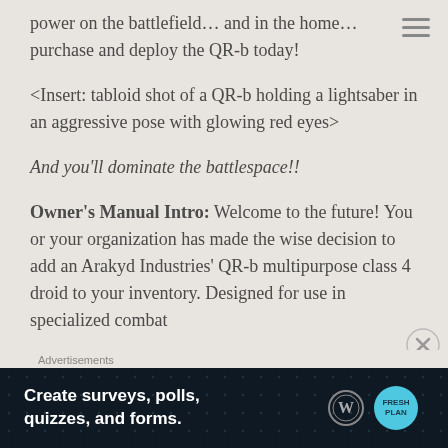power on the battlefield… and in the home… purchase and deploy the QR-b today!
<Insert: tabloid shot of a QR-b holding a lightsaber in an aggressive pose with glowing red eyes>
And you'll dominate the battlespace!!
Owner's Manual Intro: Welcome to the future! You or your organization has made the wise decision to add an Arakyd Industries' QR-b multipurpose class 4 droid to your inventory. Designed for use in specialized combat
Advertisements
[Figure (screenshot): Advertisement banner for WordPress: 'Create surveys, polls, quizzes, and forms.' with WordPress and FreshPlan logos on dark background]